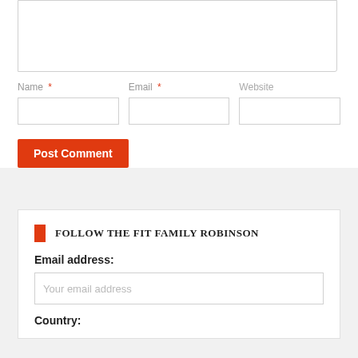[Figure (screenshot): A comment form section with a textarea (partially visible at top), Name/Email/Website input fields with required asterisks, and a Post Comment button]
FOLLOW THE FIT FAMILY ROBINSON
Email address:
Your email address
Country: